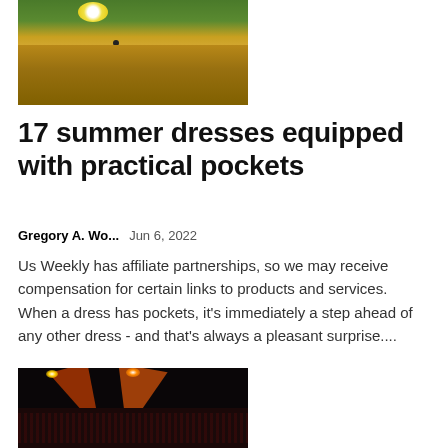[Figure (photo): Woman in yellow summer dress holding a white daisy flower, standing outdoors with green grass background]
17 summer dresses equipped with practical pockets
Gregory A. Wo...    Jun 6, 2022
Us Weekly has affiliate partnerships, so we may receive compensation for certain links to products and services. When a dress has pockets, it's immediately a step ahead of any other dress - and that's always a pleasant surprise....
[Figure (photo): Concert scene with orange/red spotlights beaming over a crowd of people at a live music event]